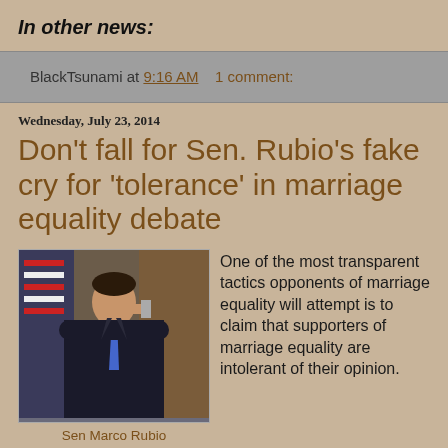In other news:
BlackTsunami at 9:16 AM   1 comment:
Wednesday, July 23, 2014
Don't fall for Sen. Rubio's fake cry for 'tolerance' in marriage equality debate
[Figure (photo): Photo of Sen Marco Rubio in a dark suit with blue tie, drinking from a small bottle, standing in front of an American flag and ornate curtains.]
Sen Marco Rubio
One of the most transparent tactics opponents of marriage equality will attempt is to claim that supporters of marriage equality are intolerant of their opinion.
It's not only a transparent tactic but highly cynical. And apparently it's the tactic that Sen. Marco Rubio of Florida is